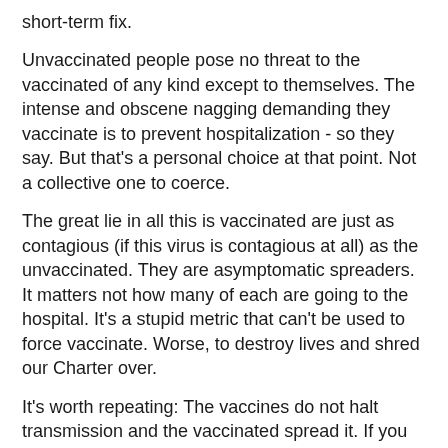short-term fix.
Unvaccinated people pose no threat to the vaccinated of any kind except to themselves. The intense and obscene nagging demanding they vaccinate is to prevent hospitalization - so they say. But that's a personal choice at that point. Not a collective one to coerce.
The great lie in all this is vaccinated are just as contagious (if this virus is contagious at all) as the unvaccinated. They are asymptomatic spreaders. It matters not how many of each are going to the hospital. It's a stupid metric that can't be used to force vaccinate. Worse, to destroy lives and shred our Charter over.
It's worth repeating: The vaccines do not halt transmission and the vaccinated spread it. If you are vaccinated you've protected yourself to some degree and can't demand someone else get vaccinated to protect you more since it doesn't stop the spreading. It's like asking someone to wear a seatbelt to protect you if you're wearing one already. There is ZERO scientific justification for this kind of hateful rhetoric and for unethical passports.